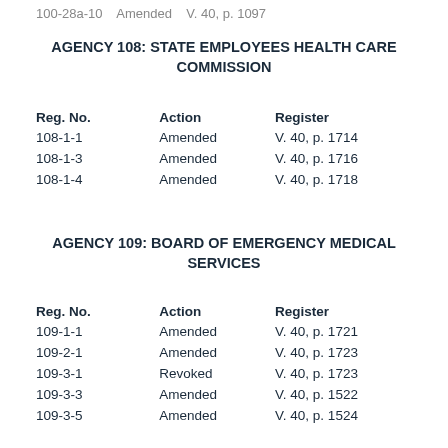100-28a-10    Amended    V. 40, p. 1097
AGENCY 108: STATE EMPLOYEES HEALTH CARE COMMISSION
| Reg. No. | Action | Register |
| --- | --- | --- |
| 108-1-1 | Amended | V. 40, p. 1714 |
| 108-1-3 | Amended | V. 40, p. 1716 |
| 108-1-4 | Amended | V. 40, p. 1718 |
AGENCY 109: BOARD OF EMERGENCY MEDICAL SERVICES
| Reg. No. | Action | Register |
| --- | --- | --- |
| 109-1-1 | Amended | V. 40, p. 1721 |
| 109-2-1 | Amended | V. 40, p. 1723 |
| 109-3-1 | Revoked | V. 40, p. 1723 |
| 109-3-3 | Amended | V. 40, p. 1522 |
| 109-3-5 | Amended | V. 40, p. 1524 |